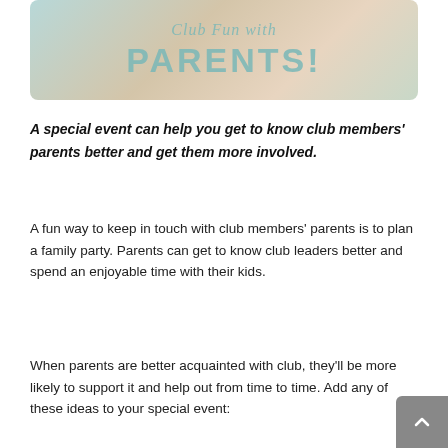[Figure (illustration): Banner image with pastel watercolor background showing text 'Club Fun with PARENTS!' in teal/seafoam colored lettering]
A special event can help you get to know club members' parents better and get them more involved.
A fun way to keep in touch with club members' parents is to plan a family party. Parents can get to know club leaders better and spend an enjoyable time with their kids.
When parents are better acquainted with club, they'll be more likely to support it and help out from time to time. Add any of these ideas to your special event: